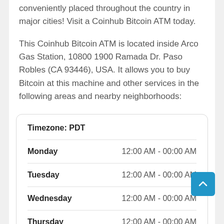conveniently placed throughout the country in major cities! Visit a Coinhub Bitcoin ATM today.
This Coinhub Bitcoin ATM is located inside Arco Gas Station, 10800 1900 Ramada Dr. Paso Robles (CA 93446), USA. It allows you to buy Bitcoin at this machine and other services in the following areas and nearby neighborhoods:
| Day | Hours |
| --- | --- |
| Monday | 12:00 AM - 00:00 AM |
| Tuesday | 12:00 AM - 00:00 AM |
| Wednesday | 12:00 AM - 00:00 AM |
| Thursday | 12:00 AM - 00:00 AM |